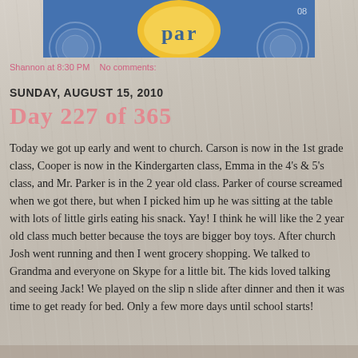[Figure (illustration): Decorative blog header banner with blue background, yellow floral/doily design, partial text visible at top]
Shannon at 8:30 PM    No comments:
SUNDAY, AUGUST 15, 2010
Day 227 of 365
Today we got up early and went to church. Carson is now in the 1st grade class, Cooper is now in the Kindergarten class, Emma in the 4's & 5's class, and Mr. Parker is in the 2 year old class. Parker of course screamed when we got there, but when I picked him up he was sitting at the table with lots of little girls eating his snack. Yay! I think he will like the 2 year old class much better because the toys are bigger boy toys. After church Josh went running and then I went grocery shopping. We talked to Grandma and everyone on Skype for a little bit. The kids loved talking and seeing Jack! We played on the slip n slide after dinner and then it was time to get ready for bed. Only a few more days until school starts!